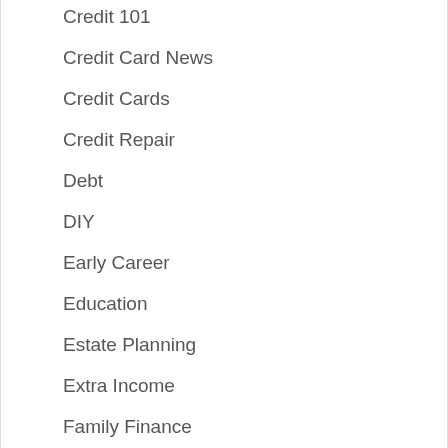Credit 101
Credit Card News
Credit Cards
Credit Repair
Debt
DIY
Early Career
Education
Estate Planning
Extra Income
Family Finance
Financial Advisor